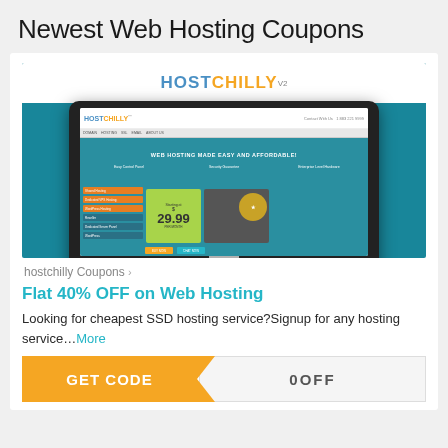Newest Web Hosting Coupons
[Figure (screenshot): Screenshot of HostChilly web hosting website displayed on a monitor mockup against teal background, showing the HOSTCHILLY logo and 'WEB HOSTING MADE EASY AND AFFORDABLE!' headline with hosting plans starting at $29.99]
hostchilly Coupons ›
Flat 40% OFF on Web Hosting
Looking for cheapest SSD hosting service?Signup for any hosting service… More
GET CODE | 0OFF